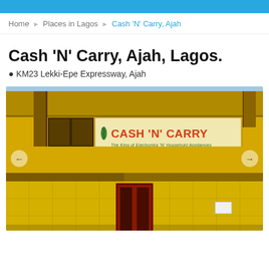Home > Places in Lagos > Cash 'N' Carry, Ajah
Cash 'N' Carry, Ajah, Lagos.
KM23 Lekki-Epe Expressway, Ajah
[Figure (photo): Exterior photo of Cash 'N' Carry store building in Ajah, Lagos. A large yellow building with a prominent sign reading CASH 'N' CARRY - The King of Electronics 'N' Household Appliances. Red entrance doors at ground level. Navigation arrows on left and right sides of image.]